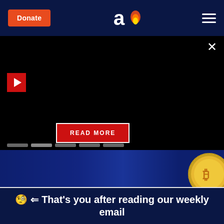Donate | logo | menu
[Figure (screenshot): Dark modal overlay with play button, READ MORE button, and navigation dots on black background]
[Figure (photo): Bitcoin gold coin on dark blue background strip]
🧐 ⟸ That's you after reading our weekly email